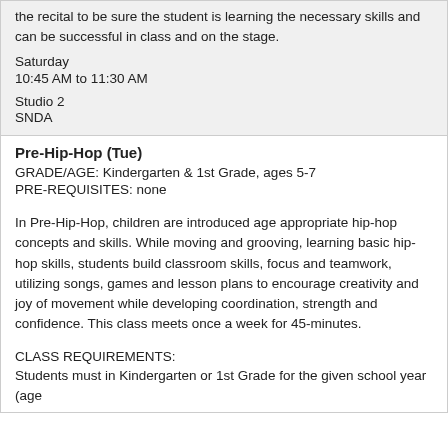the recital to be sure the student is learning the necessary skills and can be successful in class and on the stage.
Saturday
10:45 AM to 11:30 AM
Studio 2
SNDA
Pre-Hip-Hop (Tue)
GRADE/AGE: Kindergarten & 1st Grade, ages 5-7
PRE-REQUISITES: none
In Pre-Hip-Hop, children are introduced age appropriate hip-hop concepts and skills. While moving and grooving, learning basic hip-hop skills, students build classroom skills, focus and teamwork, utilizing songs, games and lesson plans to encourage creativity and joy of movement while developing coordination, strength and confidence. This class meets once a week for 45-minutes.
CLASS REQUIREMENTS:
Students must in Kindergarten or 1st Grade for the given school year (age